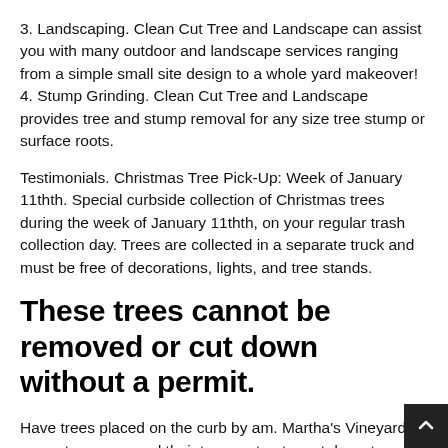3. Landscaping. Clean Cut Tree and Landscape can assist you with many outdoor and landscape services ranging from a simple small site design to a whole yard makeover! 4. Stump Grinding. Clean Cut Tree and Landscape provides tree and stump removal for any size tree stump or surface roots.
Testimonials. Christmas Tree Pick-Up: Week of January 11thth. Special curbside collection of Christmas trees during the week of January 11thth, on your regular trash collection day. Trees are collected in a separate truck and must be free of decorations, lights, and tree stands.
These trees cannot be removed or cut down without a permit.
Have trees placed on the curb by am. Martha's Vineyard property owners and their tree contractor cut down ten mature trees on a neighbor's property to improve their own view of the ocean.
The court upheld a jury award granting the wronged property owner the 30. replacement cost of the trees, rather than dam…